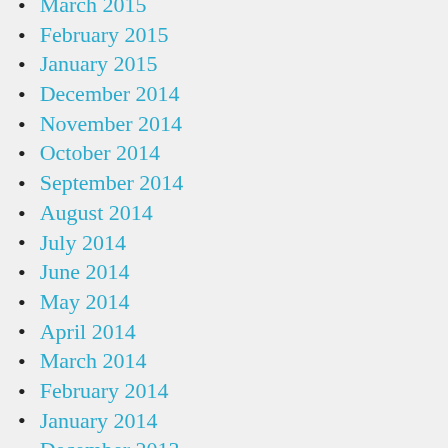March 2015
February 2015
January 2015
December 2014
November 2014
October 2014
September 2014
August 2014
July 2014
June 2014
May 2014
April 2014
March 2014
February 2014
January 2014
December 2013
November …